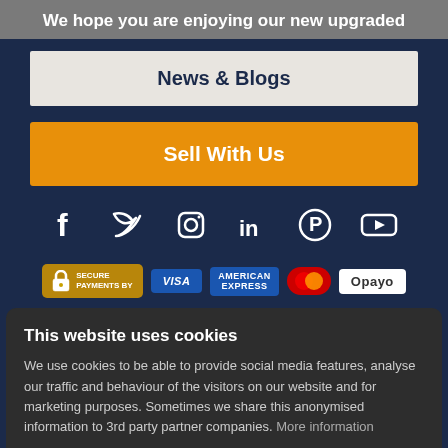We hope you are enjoying our new upgraded
News & Blogs
Sell With Us
[Figure (infographic): Social media icons row: Facebook, Twitter, Instagram, LinkedIn, Pinterest, YouTube]
[Figure (infographic): Secure payments logos: padlock icon with SECURE PAYMENTS BY text, Visa, American Express, MasterCard, Opayo]
This website uses cookies
We use cookies to be able to provide social media features, analyse our traffic and behaviour of the visitors on our website and for marketing purposes. Sometimes we share this anonymised information to 3rd party partner companies. More information
I accept all Cookies
Change settings
Bradford BD5 9BP, UK